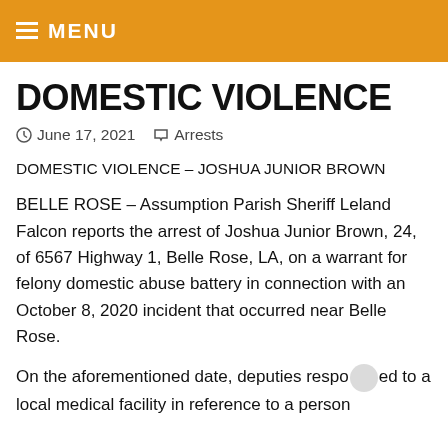≡ MENU
DOMESTIC VIOLENCE
June 17, 2021   Arrests
DOMESTIC VIOLENCE – JOSHUA JUNIOR BROWN
BELLE ROSE – Assumption Parish Sheriff Leland Falcon reports the arrest of Joshua Junior Brown, 24, of 6567 Highway 1, Belle Rose, LA, on a warrant for felony domestic abuse battery in connection with an October 8, 2020 incident that occurred near Belle Rose.
On the aforementioned date, deputies responded to a local medical facility in reference to a person